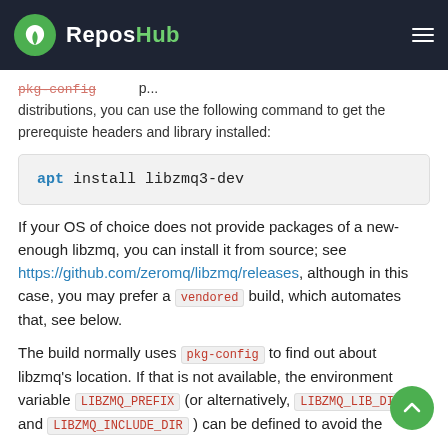ReposHub
pkg-config ... distributions, you can use the following command to get the prerequiste headers and library installed:
apt install libzmq3-dev
If your OS of choice does not provide packages of a new-enough libzmq, you can install it from source; see https://github.com/zeromq/libzmq/releases, although in this case, you may prefer a vendored build, which automates that, see below.
The build normally uses pkg-config to find out about libzmq's location. If that is not available, the environment variable LIBZMQ_PREFIX (or alternatively, LIBZMQ_LIB_DIR and LIBZMQ_INCLUDE_DIR ) can be defined to avoid the